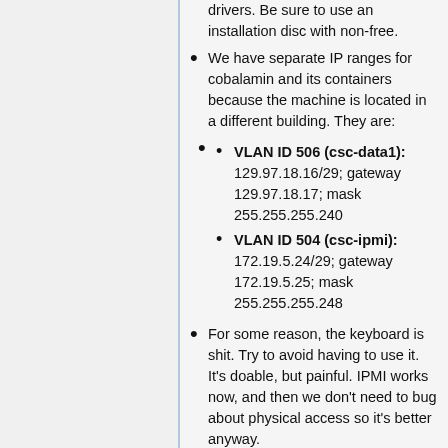disc with non-free.
We have separate IP ranges for cobalamin and its containers because the machine is located in a different building. They are:
VLAN ID 506 (csc-data1): 129.97.18.16/29; gateway 129.97.18.17; mask 255.255.255.240
VLAN ID 504 (csc-ipmi): 172.19.5.24/29; gateway 172.19.5.25; mask 255.255.255.248
For some reason, the keyboard is shit. Try to avoid having to use it. It's doable, but painful. IPMI works now, and then we don't need to bug about physical access so it's better anyway.